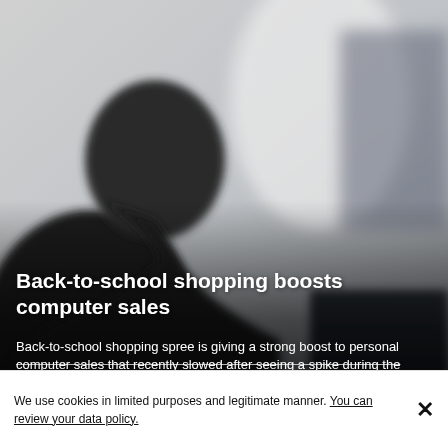[Figure (photo): Blurred silhouette of a person sitting at a desk with a laptop computer in a dimly lit room. The image is dark and out of focus.]
Back-to-school shopping boosts computer sales
Back-to-school shopping spree is giving a strong boost to personal computer sales that recently slowed after seeing a spike during the
We use cookies in limited purposes and legitimate manner. You can review your data policy.